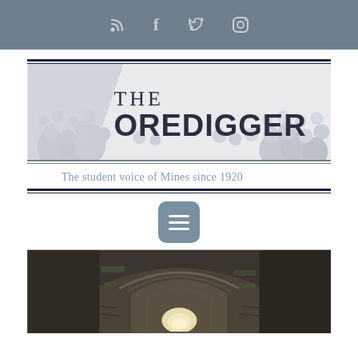Social media icons: RSS, Facebook, Twitter, Instagram
[Figure (logo): The Oredigger newspaper logo with crowd illustration background. Text reads THE OREDIGGER in large display font.]
The student voice of Mines since 1920
[Figure (other): Hamburger menu button (three horizontal lines) on a slate-blue rounded square background]
[Figure (photo): Interior photograph of an old stone building or mine tunnel with arched stone doorways, moss-covered walls, and light visible through a far opening]